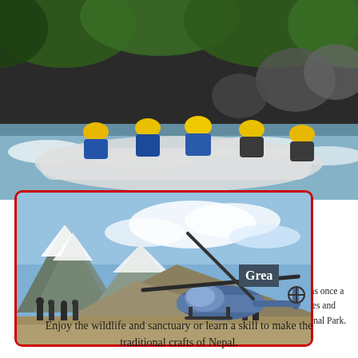[Figure (photo): Blurred photo of a group of people whitewater rafting, wearing yellow helmets and life vests, in a rocky river with green trees in the background.]
[Figure (photo): Photo with red border of a helicopter on a mountain landing area with several people standing nearby, snow-capped mountains and blue sky in the background. A dark overlay box with partial text 'Grea' is visible on the right side.]
was once a sites and tional Park.
Enjoy the wildlife and sanctuary or learn a skill to make the traditional crafts of Nepal.